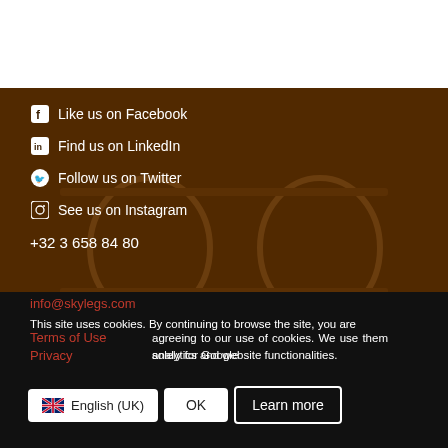[Figure (photo): Dark cockpit/instrument panel background image with amber/brown tone overlay]
Like us on Facebook
Find us on LinkedIn
Follow us on Twitter
See us on Instagram
+32 3 658 84 80
info@skylegs.com
Terms of Use
Privacy
This site uses cookies. By continuing to browse the site, you are agreeing to our use of cookies. We use them solely for Google analytics and website functionalities.
English (UK)
OK
Learn more